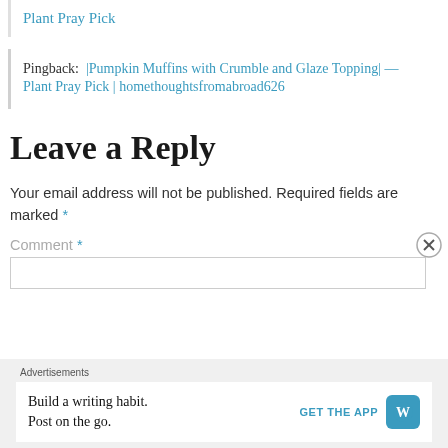Plant Pray Pick
Pingback:  |Pumpkin Muffins with Crumble and Glaze Topping| — Plant Pray Pick | homethoughtsfromabroad626
Leave a Reply
Your email address will not be published. Required fields are marked *
Comment *
Advertisements
Build a writing habit. Post on the go.
GET THE APP